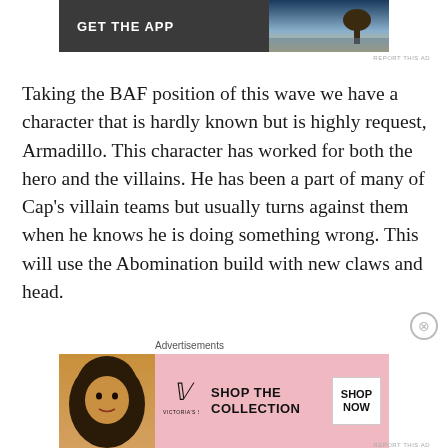[Figure (screenshot): Top advertisement banner with dark background reading GET THE APP with a landscape photo on the right]
Taking the BAF position of this wave we have a character that is hardly known but is highly request, Armadillo. This character has worked for both the hero and the villains. He has been a part of many of Cap’s villain teams but usually turns against them when he knows he is doing something wrong. This will use the Abomination build with new claws and head.
[Figure (screenshot): Bottom Victoria's Secret advertisement banner with pink background, woman photo, VS logo, SHOP THE COLLECTION text and SHOP NOW button]